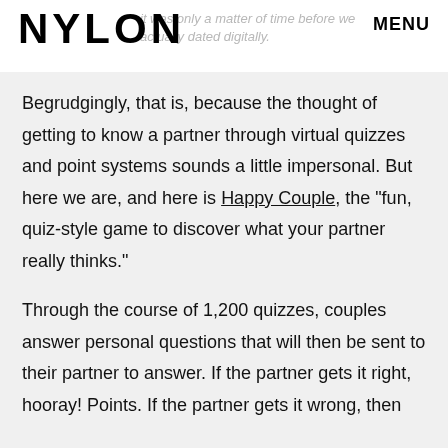NYLON  it was only a matter of time before we actually dated digitally.  MENU
Begrudgingly, that is, because the thought of getting to know a partner through virtual quizzes and point systems sounds a little impersonal. But here we are, and here is Happy Couple, the "fun, quiz-style game to discover what your partner really thinks."
Through the course of 1,200 quizzes, couples answer personal questions that will then be sent to their partner to answer. If the partner gets it right, hooray! Points. If the partner gets it wrong, then